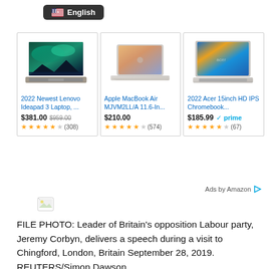[Figure (screenshot): Language selector button showing US flag and 'English' text on dark rounded background]
[Figure (screenshot): Amazon ad card: 2022 Newest Lenovo Ideapad 3 Laptop, $381.00 (was $959.00), 4.5 stars (308 reviews)]
[Figure (screenshot): Amazon ad card: Apple MacBook Air MJVM2LL/A 11.6-In..., $210.00, 4.5 stars (574 reviews)]
[Figure (screenshot): Amazon ad card: 2022 Acer 15inch HD IPS Chromebook..., $185.99 with Prime, 4.5 stars (67 reviews)]
Ads by Amazon
[Figure (illustration): Small broken image icon]
FILE PHOTO: Leader of Britain's opposition Labour party, Jeremy Corbyn, delivers a speech during a visit to Chingford, London, Britain September 28, 2019. REUTERS/Simon Dawson